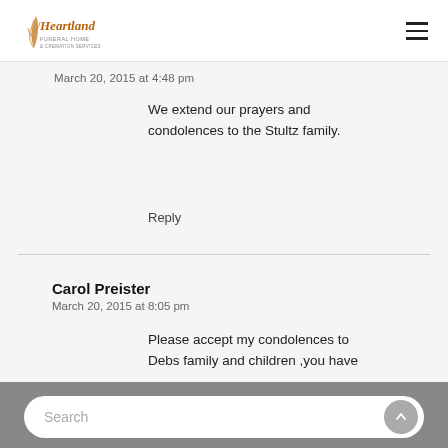Heartland Funeral Home & Cremation Services
March 20, 2015 at 4:48 pm
We extend our prayers and condolences to the Stultz family.
Reply
Carol Preister
March 20, 2015 at 8:05 pm
Please accept my condolences to Debs family and children ,you have